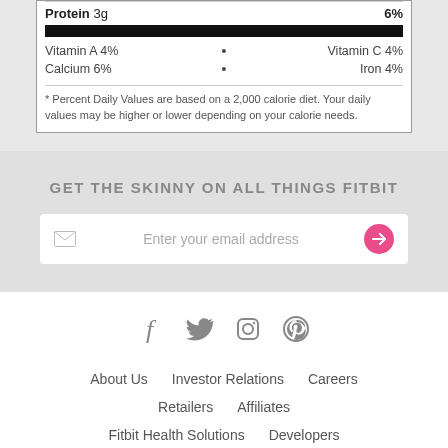| Protein 3g | 6% |
| Vitamin A  4% | • | Vitamin C  4% |
| Calcium  6% | • | Iron  4% |
* Percent Daily Values are based on a 2,000 calorie diet. Your daily values may be higher or lower depending on your calorie needs.
GET THE SKINNY ON ALL THINGS FITBIT
Enter your email address
[Figure (infographic): Social media icons: Facebook, Twitter, Instagram, Pinterest]
About Us
Investor Relations
Careers
Retailers
Affiliates
Fitbit Health Solutions
Developers